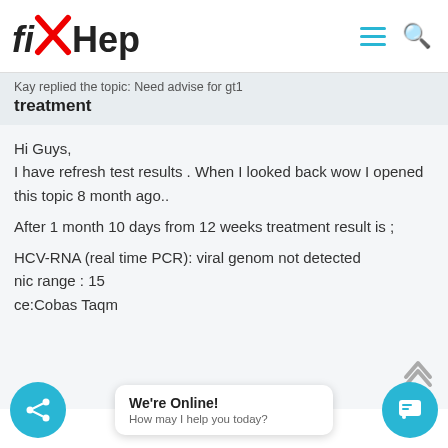fixHepC [logo with nav icons]
Kay replied the topic: Need advise for gt1 treatment
Hi Guys,
I have refresh test results . When I looked back wow I opened this topic 8 month ago..

After 1 month 10 days from 12 weeks treatment result is ;

HCV-RNA (real time PCR): viral genom not detected
nic range : 15...
ce:Cobas Taqm...